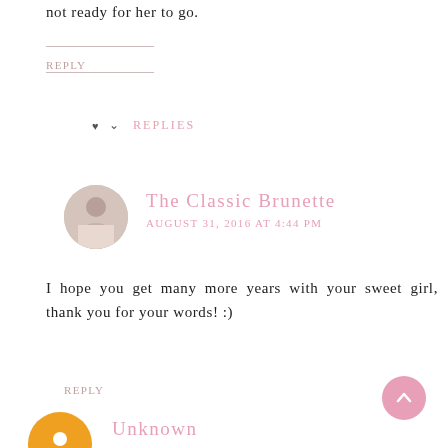not ready for her to go.
REPLY
REPLIES
The Classic Brunette
AUGUST 31, 2016 AT 4:44 PM
I hope you get many more years with your sweet girl, thank you for your words! :)
REPLY
Unknown
AUGUST 30, 2016 AT 10:25 AM